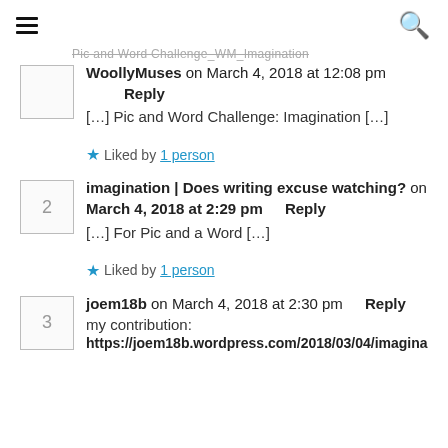≡   🔍
Pic and Word Challenge_WM_Imagination (truncated/strikethrough header)
WoollyMuses on March 4, 2018 at 12:08 pm   Reply
[…] Pic and Word Challenge: Imagination […]
★ Liked by 1 person
imagination | Does writing excuse watching? on March 4, 2018 at 2:29 pm   Reply
[…] For Pic and a Word […]
★ Liked by 1 person
joem18b on March 4, 2018 at 2:30 pm   Reply
my contribution:
https://joem18b.wordpress.com/2018/03/04/imagina